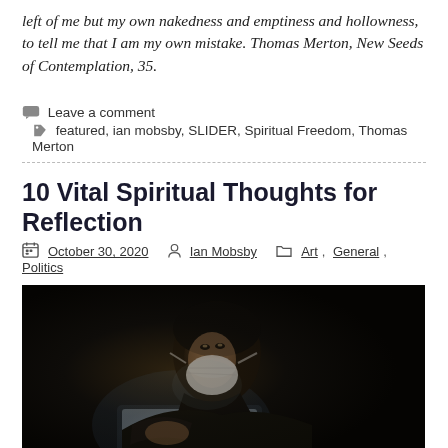left of me but my own nakedness and emptiness and hollowness, to tell me that I am my own mistake. Thomas Merton, New Seeds of Contemplation, 35.
Leave a comment   featured, ian mobsby, SLIDER, Spiritual Freedom, Thomas Merton
10 Vital Spiritual Thoughts for Reflection
October 30, 2020   Ian Mobsby   Art, General, Politics
[Figure (photo): Dark photograph of a person wearing a white face mask, looking at a glowing screen in a dark environment]